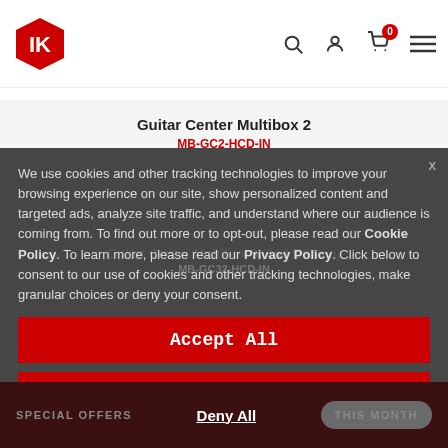IK Multimedia header with logo, search icon, account icon, cart with badge 0, and hamburger menu
Guitar Center Multibox 2
MB-GC2-HCD-IN
We use cookies and other tracking technologies to improve your browsing experience on our site, show personalized content and targeted ads, analyze site traffic, and understand where our audience is coming from. To find out more or to opt-out, please read our Cookie Policy. To learn more, please read our Privacy Policy. Click below to consent to our use of cookies and other tracking technologies, make granular choices or deny your consent.
Accept All
Manage Settings
Guitar Center Multibox 3 (2nd Edition)
MB-GC32-HCD-IN
Guitar Center Multibox 3
SPECIAL OFFERS
Deny All
THIS MONTH